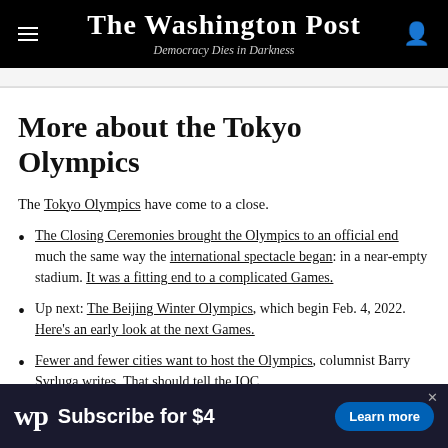The Washington Post — Democracy Dies in Darkness
More about the Tokyo Olympics
The Tokyo Olympics have come to a close.
The Closing Ceremonies brought the Olympics to an official end much the same way the international spectacle began: in a near-empty stadium. It was a fitting end to a complicated Games.
Up next: The Beijing Winter Olympics, which begin Feb. 4, 2022. Here's an early look at the next Games.
Fewer and fewer cities want to host the Olympics, columnist Barry Svrluga writes. That should tell the IOC
[Figure (other): Washington Post subscription advertisement banner: WP logo, 'Subscribe for $4', 'Learn more' button]